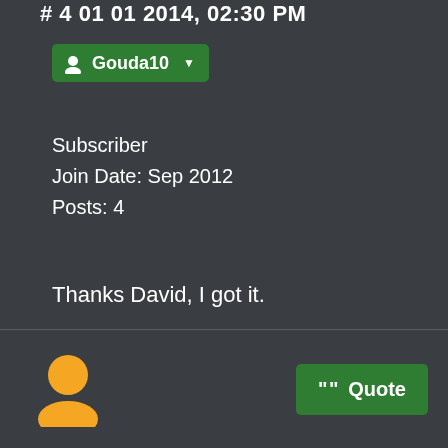# 4 01 01 2014, 02:30 PM
[Figure (other): Green user badge button with account icon and username Gouda10 with dropdown arrow]
Subscriber
Join Date: Sep 2012
Posts: 4
Thanks David, I got it.
[Figure (other): Yellow silhouette person avatar icon]
[Figure (other): Green Quote button with quotation mark icon]